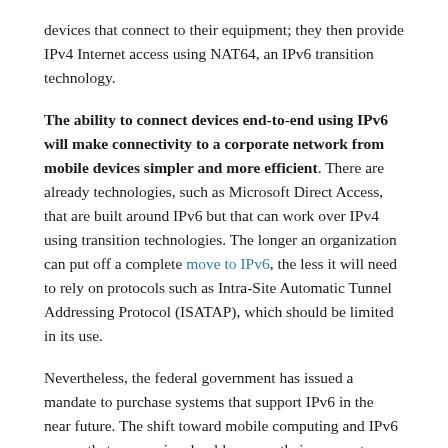devices that connect to their equipment; they then provide IPv4 Internet access using NAT64, an IPv6 transition technology.
The ability to connect devices end-to-end using IPv6 will make connectivity to a corporate network from mobile devices simpler and more efficient. There are already technologies, such as Microsoft Direct Access, that are built around IPv6 but that can work over IPv4 using transition technologies. The longer an organization can put off a complete move to IPv6, the less it will need to rely on protocols such as Intra-Site Automatic Tunnel Addressing Protocol (ISATAP), which should be limited in its use.
Nevertheless, the federal government has issued a mandate to purchase systems that support IPv6 in the near future. The shift toward mobile computing and IPv6 means that companies should prepare their corporate network